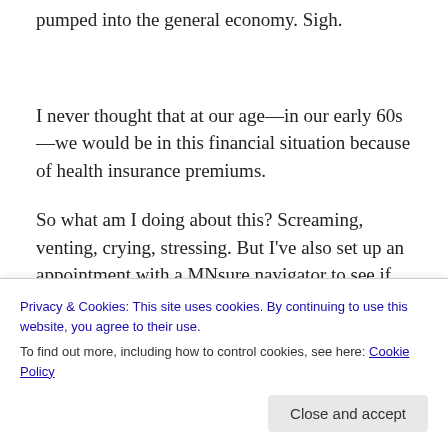pumped into the general economy. Sigh.
I never thought that at our age—in our early 60s—we would be in this financial situation because of health insurance premiums.
So what am I doing about this? Screaming, venting, crying, stressing. But I've also set up an appointment with a MNsure navigator to see if we qualify for any type of
Privacy & Cookies: This site uses cookies. By continuing to use this website, you agree to their use.
To find out more, including how to control cookies, see here: Cookie Policy
Close and accept